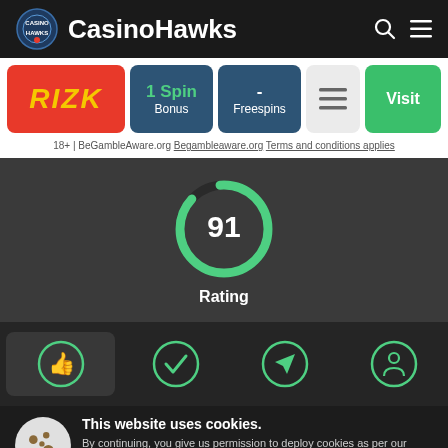CasinoHawks
[Figure (screenshot): RIZK casino logo on red background]
1 Spin Bonus
- Freespins
Visit
18+ | BeGambleAware.org Begambleaware.org Terms and conditions applies
[Figure (donut-chart): Circular gauge showing rating of 91 out of 100]
Rating
[Figure (infographic): Four circular icons: thumbs up, checkmark, arrow/navigation, headset]
This website uses cookies. By continuing, you give us permission to deploy cookies as per our Cookies Policy.
Close and Decline
Close and Accept